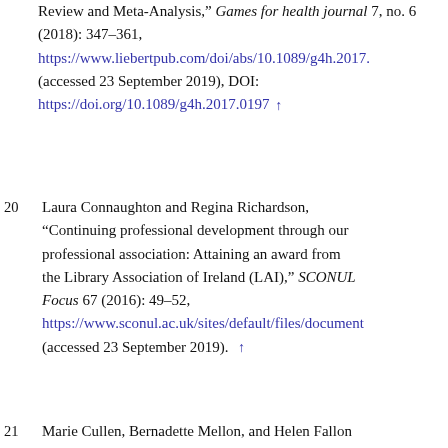Review and Meta-Analysis," Games for health journal 7, no. 6 (2018): 347–361, https://www.liebertpub.com/doi/abs/10.1089/g4h.2017. (accessed 23 September 2019), DOI: https://doi.org/10.1089/g4h.2017.0197 ↑
20 Laura Connaughton and Regina Richardson, "Continuing professional development through our professional association: Attaining an award from the Library Association of Ireland (LAI)," SCONUL Focus 67 (2016): 49–52, https://www.sconul.ac.uk/sites/default/files/document (accessed 23 September 2019). ↑
21 Marie Cullen, Bernadette Mellon, and Helen Fallon